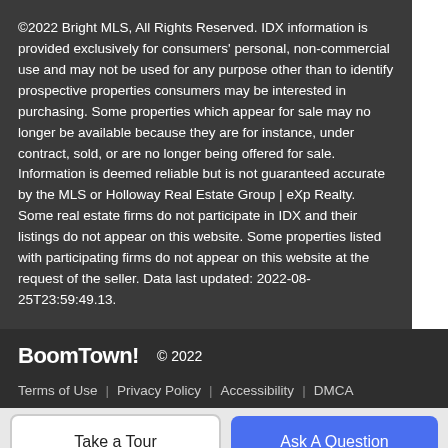©2022 Bright MLS, All Rights Reserved. IDX information is provided exclusively for consumers' personal, non-commercial use and may not be used for any purpose other than to identify prospective properties consumers may be interested in purchasing. Some properties which appear for sale may no longer be available because they are for instance, under contract, sold, or are no longer being offered for sale. Information is deemed reliable but is not guaranteed accurate by the MLS or Holloway Real Estate Group | eXp Realty. Some real estate firms do not participate in IDX and their listings do not appear on this website. Some properties listed with participating firms do not appear on this website at the request of the seller. Data last updated: 2022-08-25T23:59:49.13.
BoomTown! © 2022
Terms of Use | Privacy Policy | Accessibility | DMCA
Take a Tour | Ask A Question